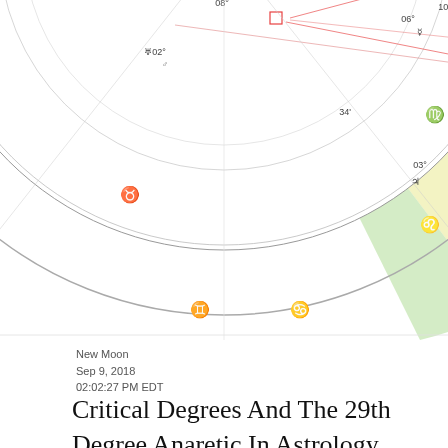[Figure (other): Partial astrological natal chart (horoscope wheel), showing the top and right portions of the chart ring with zodiac signs, degree markings, aspect lines, and colored sections. Visible signs include Gemini (II), Cancer, Leo, Virgo, Taurus, and others. Degree labels visible: 08°, 02°, 34', 03°, 06°, 10°. Colored outer ring segments in pink/red, orange, yellow-green, yellow, and light green. Aspect lines in red and pink drawn inside the wheel.]
New Moon
Sep  9, 2018
02:02:27 PM EDT
Critical Degrees And The 29th Degree Anaretic In Astrology Astrology Horoscope Relationship Astrology